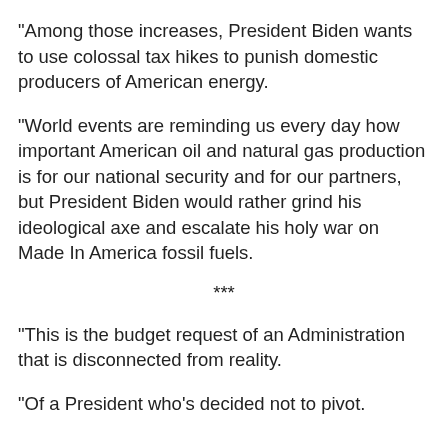“Among those increases, President Biden wants to use colossal tax hikes to punish domestic producers of American energy.
“World events are reminding us every day how important American oil and natural gas production is for our national security and for our partners, but President Biden would rather grind his ideological axe and escalate his holy war on Made In America fossil fuels.
***
“This is the budget request of an Administration that is disconnected from reality.
“Of a President who’s decided not to pivot.